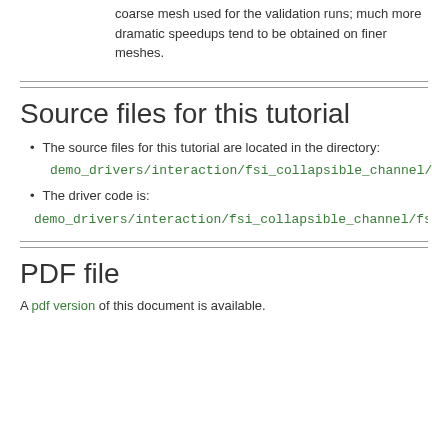coarse mesh used for the validation runs; much more dramatic speedups tend to be obtained on finer meshes.
Source files for this tutorial
The source files for this tutorial are located in the directory:
demo_drivers/interaction/fsi_collapsible_channel/
The driver code is:
demo_drivers/interaction/fsi_collapsible_channel/fsi_collapsible
PDF file
A pdf version of this document is available.